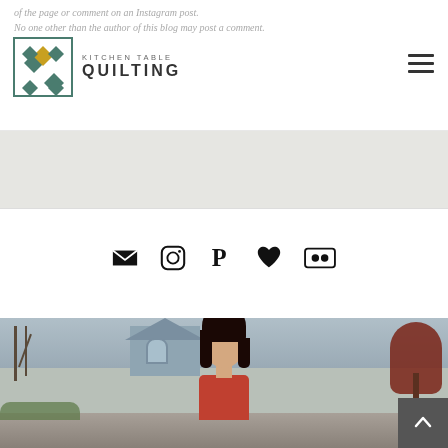of the page or comment on an Instagram post.
No one other than the author of this blog may post a comment.
[Figure (logo): Kitchen Table Quilting logo with diamond quilt pattern icon and text KITCHEN TABLE QUILTING]
[Figure (infographic): Social media icons bar: email/envelope, Instagram, Pinterest, heart/Bloglovin, Flickr]
[Figure (photo): Portrait photo of a smiling dark-haired woman in a red top, standing on a residential street with houses and autumn trees in the background]